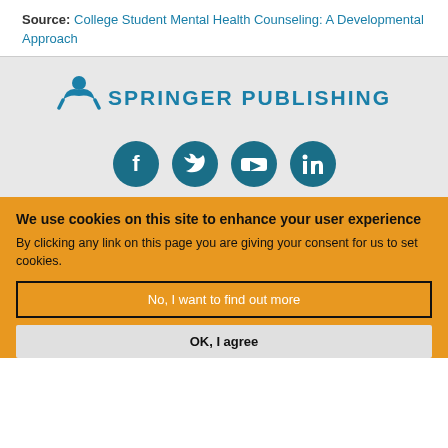Source: College Student Mental Health Counseling: A Developmental Approach
[Figure (logo): Springer Publishing logo with stylized person icon and teal text]
[Figure (infographic): Four social media icons: Facebook, Twitter, YouTube, LinkedIn in teal circles]
We use cookies on this site to enhance your user experience
By clicking any link on this page you are giving your consent for us to set cookies.
No, I want to find out more
OK, I agree